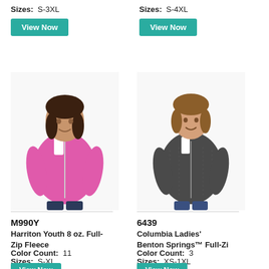Sizes: S-3XL
View Now
Sizes: S-4XL
View Now
[Figure (photo): Youth girl wearing pink full-zip fleece jacket]
[Figure (photo): Woman wearing dark grey full-zip fleece jacket]
M990Y
Harriton Youth 8 oz. Full-Zip Fleece
6439
Columbia Ladies' Benton Springs™ Full-Zip
Color Count: 11
Sizes: S-XL
View Now
Color Count: 3
Sizes: XS-1XL
View Now